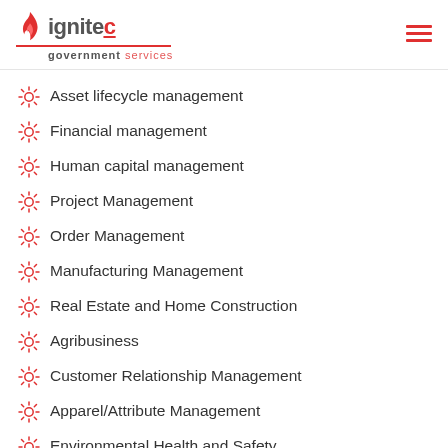ignitec government services
Asset lifecycle management
Financial management
Human capital management
Project Management
Order Management
Manufacturing Management
Real Estate and Home Construction
Agribusiness
Customer Relationship Management
Apparel/Attribute Management
Environmental Health and Safety